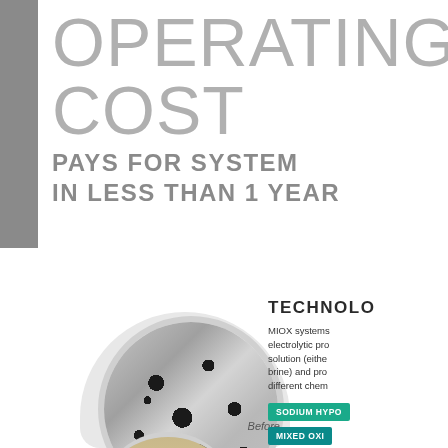OPERATING COST
PAYS FOR SYSTEM IN LESS THAN 1 YEAR
[Figure (photo): Close-up circular photo of a corroded or fouled surface labeled 'Before', with a partially visible second circular image below it showing a cleaner surface]
TECHNOLO
MIOX systems electrolytic pro solution (eithe brine) and pro different chem
SODIUM HYPO
MIXED OXI